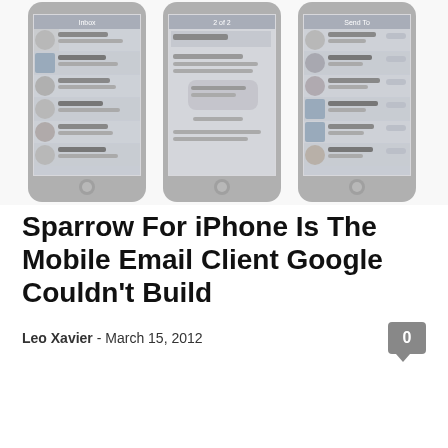[Figure (screenshot): Three iPhone screenshots showing Sparrow email app: inbox list view, email conversation view, and contacts/people list view. Phones shown in grey device frames side by side.]
Sparrow For iPhone Is The Mobile Email Client Google Couldn’t Build
Leo Xavier  -  March 15, 2012